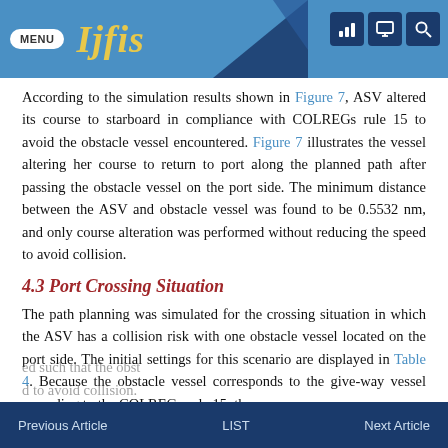MENU ijfis
According to the simulation results shown in Figure 7, ASV altered its course to starboard in compliance with COLREGs rule 15 to avoid the obstacle vessel encountered. Figure 7 illustrates the vessel altering her course to return to port along the planned path after passing the obstacle vessel on the port side. The minimum distance between the ASV and obstacle vessel was found to be 0.5532 nm, and only course alteration was performed without reducing the speed to avoid collision.
4.3 Port Crossing Situation
The path planning was simulated for the crossing situation in which the ASV has a collision risk with one obstacle vessel located on the port side. The initial settings for this scenario are displayed in Table 4. Because the obstacle vessel corresponds to the give-way vessel according to the COLREGs rule 15, the
Previous Article   LIST   Next Article